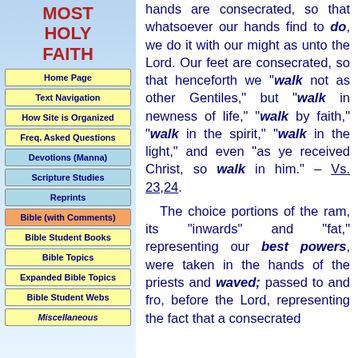MOST HOLY FAITH
Home Page
Text Navigation
How Site is Organized
Freq. Asked Questions
Devotions (Manna)
Scripture Studies
Reprints
Bible (with Comments)
Bible Student Books
Bible Topics
Expanded Bible Topics
Bible Student Webs
Miscellaneous
hands are consecrated, so that whatsoever our hands find to do, we do it with our might as unto the Lord. Our feet are consecrated, so that henceforth we "walk not as other Gentiles," but "walk in newness of life," "walk by faith," "walk in the spirit," "walk in the light," and even "as ye received Christ, so walk in him." – Vs. 23,24.
The choice portions of the ram, its "inwards" and "fat," representing our best powers, were taken in the hands of the priests and waved; passed to and fro, before the Lord, representing the fact that a consecrated